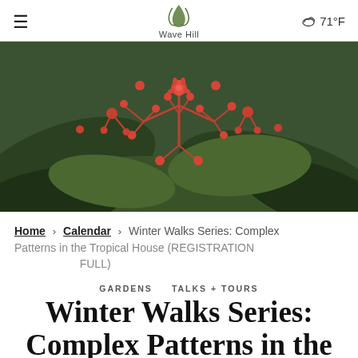Wave Hill — ☁ 71°F
[Figure (photo): Close-up photograph of red/orange tropical flowers with green foliage in the background, taken at Wave Hill's Tropical House.]
Home > Calendar > Winter Walks Series: Complex Patterns in the Tropical House (REGISTRATION FULL)
GARDENS   TALKS + TOURS
Winter Walks Series: Complex Patterns in the